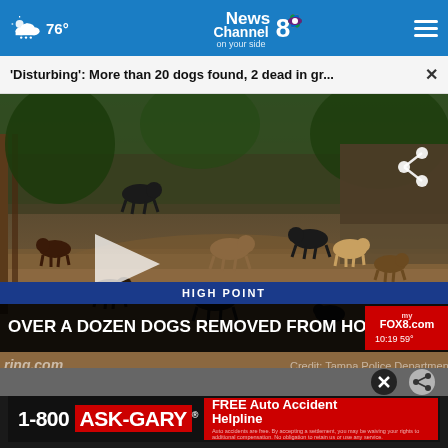76° News Channel 8 on your side
'Disturbing': More than 20 dogs found, 2 dead in gr... ×
[Figure (screenshot): News video screenshot showing over a dozen dogs in a yard. Chyron reads 'HIGH POINT' and 'OVER A DOZEN DOGS REMOVED FROM HOME'. Bug shows myFOX8.com 10:19 59°. Watermarks: ring.com and Credit: Tampa Police Department.]
[Figure (infographic): Advertisement banner: 1-800 ASK-GARY FREE Auto Accident Helpline]